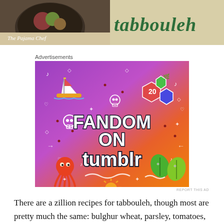[Figure (photo): Header image showing a food photo on the left with text 'The Pajama Chef' and a hand-lettered 'tabbouleh' title on the right with tan/cream background]
Advertisements
[Figure (illustration): Colorful Tumblr advertisement with gradient background (purple to orange) featuring text 'FANDOM ON tumblr' with illustrated icons including a sailboat, skull, octopus, leaves, and various doodles]
REPORT THIS AD
There are a zillion recipes for tabbouleh, though most are pretty much the same: bulghur wheat, parsley, tomatoes, olive oil, lemon juice, etc. I had Marisa's recipe pinned and